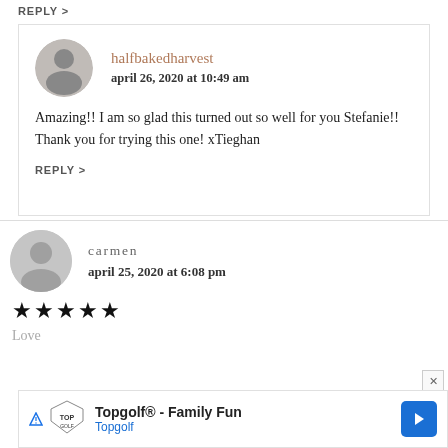REPLY >
halfbakedharvest
april 26, 2020 at 10:49 am
Amazing!! I am so glad this turned out so well for you Stefanie!! Thank you for trying this one! xTieghan
REPLY >
carmen
april 25, 2020 at 6:08 pm
★★★★★
Love
[Figure (infographic): Topgolf advertisement banner with Topgolf logo, shield icon, text 'Topgolf® - Family Fun' and 'Topgolf', blue arrow button, and X close button]